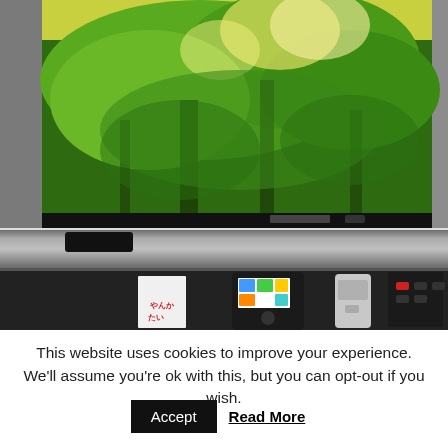[Figure (photo): A flat-screen TV mounted on a metallic shelf/cabinet showing a nature scene with green trees on screen. Below the TV on the cabinet shelf are several remote controls and devices including a white card/envelope, a device with colorful display screen, a silver remote control, and a black multi-button device.]
This website uses cookies to improve your experience. We'll assume you're ok with this, but you can opt-out if you wish.
Accept  Read More